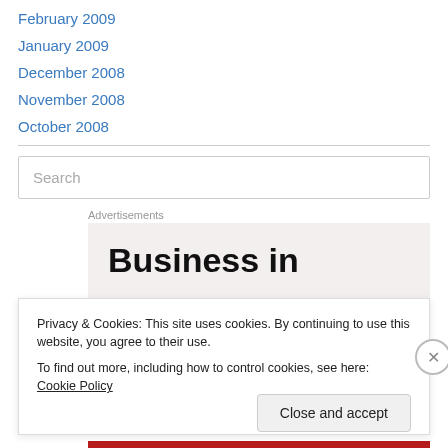February 2009
January 2009
December 2008
November 2008
October 2008
Search
Advertisements
Business in
Privacy & Cookies: This site uses cookies. By continuing to use this website, you agree to their use.
To find out more, including how to control cookies, see here: Cookie Policy
Close and accept